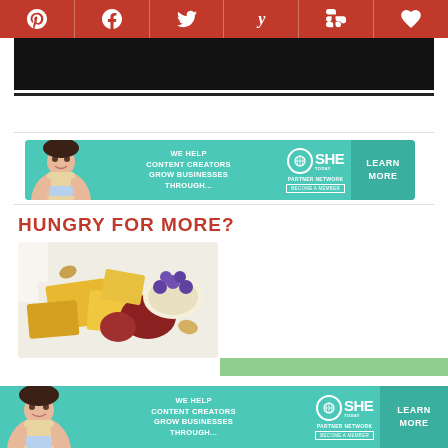[Figure (infographic): Social media sharing bar with icons for Pinterest, Facebook, Twitter, Yummly, Flipboard, and a heart/save button on dark red background]
[Figure (photo): Black banner/hero image area]
[Figure (infographic): SHE Media Partner Network advertisement banner: 'WE HELP CONTENT CREATORS GROW BUSINESSES THROUGH...' with logo and LEARN MORE button]
HUNGRY FOR MORE?
[Figure (photo): Photo of assorted cheeses and fruits on a white background]
[Figure (infographic): SHE Media Partner Network advertisement banner at bottom: 'WE HELP CONTENT CREATORS GROW BUSINESSES THROUGH...' with logo and LEARN MORE button]